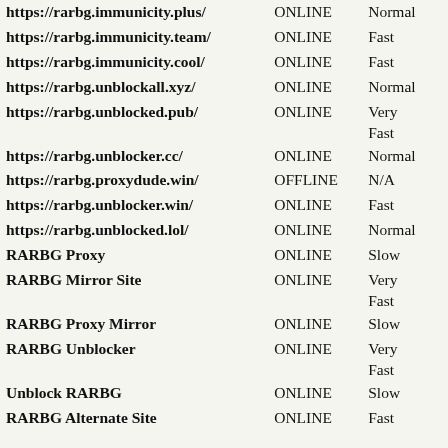| URL | Status | Speed |
| --- | --- | --- |
| https://rarbg.immunicity.plus/ | ONLINE | Normal |
| https://rarbg.immunicity.team/ | ONLINE | Fast |
| https://rarbg.immunicity.cool/ | ONLINE | Fast |
| https://rarbg.unblockall.xyz/ | ONLINE | Normal |
| https://rarbg.unblocked.pub/ | ONLINE | Very Fast |
| https://rarbg.unblocker.cc/ | ONLINE | Normal |
| https://rarbg.proxydude.win/ | OFFLINE | N/A |
| https://rarbg.unblocker.win/ | ONLINE | Fast |
| https://rarbg.unblocked.lol/ | ONLINE | Normal |
| RARBG Proxy | ONLINE | Slow |
| RARBG Mirror Site | ONLINE | Very Fast |
| RARBG Proxy Mirror | ONLINE | Slow |
| RARBG Unblocker | ONLINE | Very Fast |
| Unblock RARBG | ONLINE | Slow |
| RARBG Alternate Site | ONLINE | Fast |